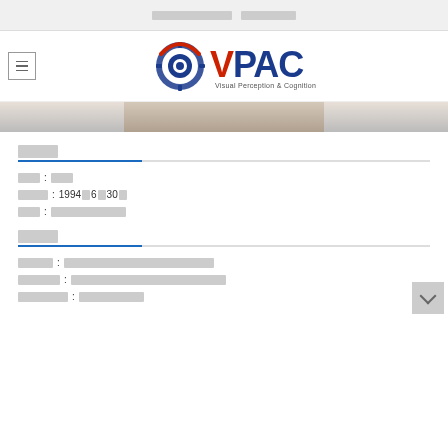​​​​​​​​​​​​​ ​​​​​​​​​
[Figure (logo): OVPAC Visual Perception & Cognition logo with eye icon, red V and blue PAC text]
​​​​
​​​ : ​​​
​​​​ : 1994​6​30​
​​​ : ​​​​​​​​​​
​​​​
​​​​​ : ​​​​​​​​​​​​​​​​​​​​
​​​​​​ : ​​​​​​​​​​​​​​​​​​​​
​​​​​​​ : ​​​​​​​​​